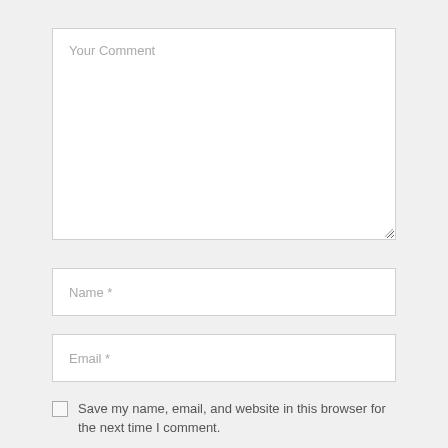Your Comment
Name *
Email *
Save my name, email, and website in this browser for the next time I comment.